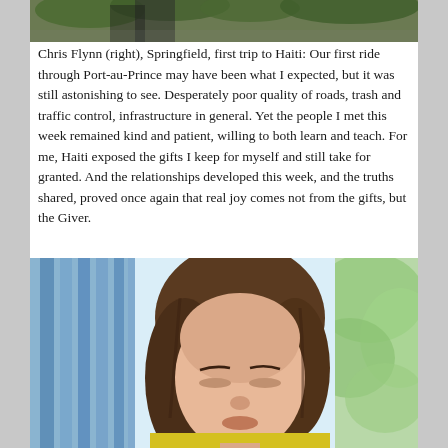[Figure (photo): Top portion of a photograph showing people outdoors, partially cropped at the top of the page]
Chris Flynn (right), Springfield, first trip to Haiti: Our first ride through Port-au-Prince may have been what I expected, but it was still astonishing to see. Desperately poor quality of roads, trash and traffic control, infrastructure in general. Yet the people I met this week remained kind and patient, willing to both learn and teach. For me, Haiti exposed the gifts I keep for myself and still take for granted. And the relationships developed this week, and the truths shared, proved once again that real joy comes not from the gifts, but the Giver.
[Figure (photo): A young girl with brown hair looking downward, wearing a yellow shirt, with a blurred blue and green background]